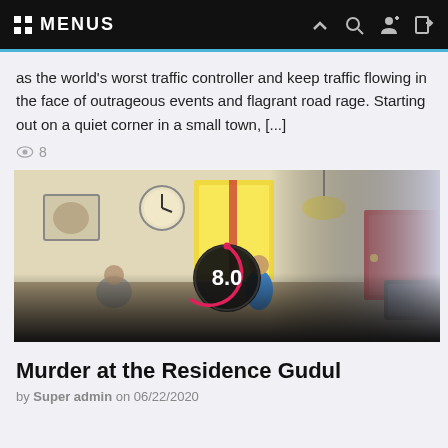MENUS
as the world's worst traffic controller and keep traffic flowing in the face of outrageous events and flagrant road rage. Starting out on a quiet corner in a small town, [...]
8
[Figure (screenshot): Game screenshot showing an animated indoor scene with cartoon characters, overlaid with a circular score badge showing 8.0 in pink/red on a dark background]
Murder at the Residence Gudul
by Super admin  on 06/22/2020